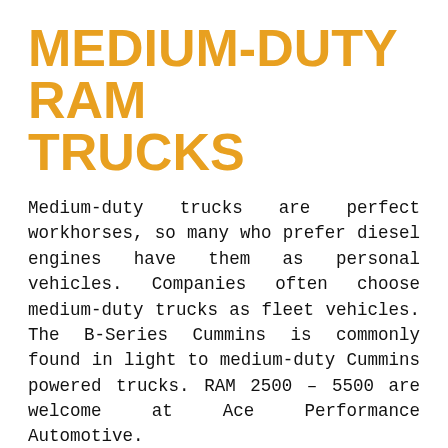MEDIUM-DUTY RAM TRUCKS
Medium-duty trucks are perfect workhorses, so many who prefer diesel engines have them as personal vehicles. Companies often choose medium-duty trucks as fleet vehicles. The B-Series Cummins is commonly found in light to medium-duty Cummins powered trucks. RAM 2500 – 5500 are welcome at Ace Performance Automotive.
We have the equipment required to work on medium-duty trucks, including the proper lifts and larger tooling. If you need repairs, our ASE Certified mechanics can get your truck serviced and repaired, including the transmission, chassis, rear end, brakes, suspension, driveline, the HVAC system, electrical...